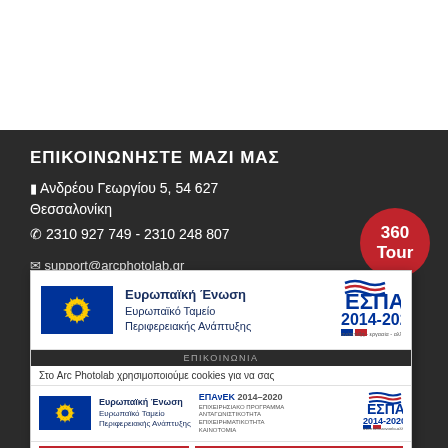ΕΠΙΚΟΙΝΩΝΗΣΤΕ ΜΑΖΙ ΜΑΣ
📋 Ανδρέου Γεωργίου 5, 54 627 Θεσσαλονίκη
📞 2310 927 749 - 2310 248 807
✉ support@arcphotolab.gr
[Figure (logo): 360 Tour red circular badge]
[Figure (logo): EU ESPA 2014-2020 banner top: European Union flag, Ευρωπαϊκή Ένωση / Ευρωπαϊκό Ταμείο Περιφερειακής Ανάπτυξης, ΕΣΠΑ 2014-2020 ανάπτυξη - εργασία - αλληλεγγύη]
ΕΠΙΚΟΙΝΩΝΙΑ
Στο Arc Photolab χρησιμοποιούμε cookies για να σας
[Figure (logo): EU ESPA 2014-2020 banner bottom: European Union flag, Ευρωπαϊκή Ένωση, Ευρωπαϊκό Ταμείο Περιφερειακής Ανάπτυξης, ΕΠΑνΕΚ 2014-2020 ΕΠΙΧΕΙΡΗΣΙΑΚΟ ΠΡΟΓΡΑΜΜΑ ΑΝΤΑΓΩΝΙΣΤΙΚΟΤΗΤΑ ΕΠΙΧΕΙΡΗΜΑΤΙΚΟΤΗΤΑ ΚΑΙΝΟΤΟΜΙΑ, ΕΣΠΑ 2014-2020]
ΟΚ
Περισσότερα